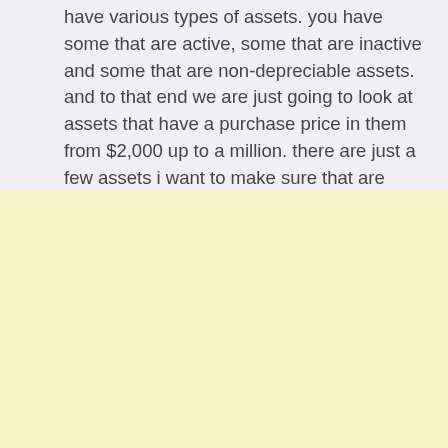have various types of assets. you have some that are active, some that are inactive and some that are non-depreciable assets. and to that end we are just going to look at assets that have a purchase price in them from $2,000 up to a million. there are just a few assets i want to make sure that are included in this list so we will start with specific asset numbers to share with you.
[Figure (other): Blank yellow/cream colored section at the bottom of the page]